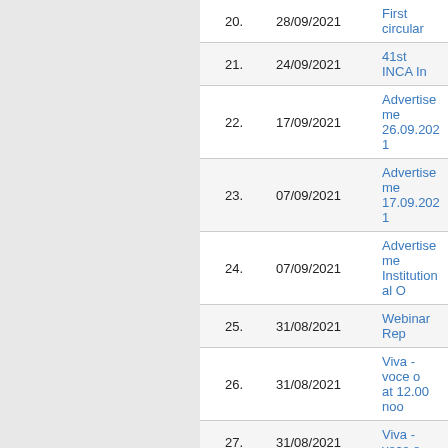| No. | Date | Title |
| --- | --- | --- |
| 20. | 28/09/2021 | First circular... |
| 21. | 24/09/2021 | 41st INCA In... |
| 22. | 17/09/2021 | Advertiseme... 26.09.2021 |
| 23. | 07/09/2021 | Advertiseme... 17.09.2021 |
| 24. | 07/09/2021 | Advertiseme... Institutional O... |
| 25. | 31/08/2021 | Webinar Rep... |
| 26. | 31/08/2021 | Viva -voce o... at 12.00 noo... |
| 27. | 31/08/2021 | Viva -voce o... |
| 28. | 25/08/2021 | Webinar on... OF AGING A... TEACHING... |
| 29. | 04/08/2021 | Notice Rega... |
| 30. | 01/06/2021 | Viva -voce o... |
| 31. | 19/05/2021 | Interview for... 11.00am |
| 32. | 12/05/2021 | Instructions i... |